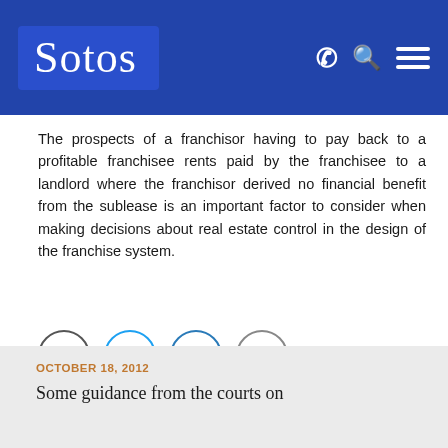[Figure (logo): Sotos law firm logo with white text on blue background, navigation icons (phone, search, hamburger menu) on the right]
The prospects of a franchisor having to pay back to a profitable franchisee rents paid by the franchisee to a landlord where the franchisor derived no financial benefit from the sublease is an important factor to consider when making decisions about real estate control in the design of the franchise system.
[Figure (infographic): Social sharing icons: Facebook (grey circle), Twitter (blue circle), LinkedIn (blue circle), Email (grey circle)]
OCTOBER 18, 2012
Some guidance from the courts on